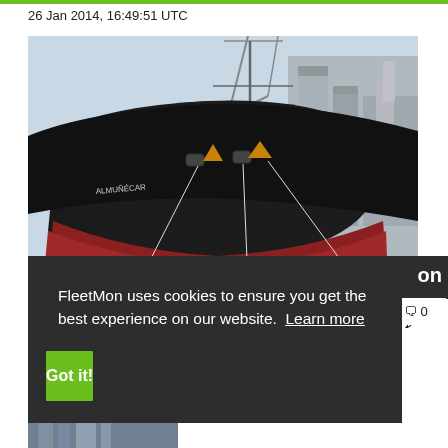26 Jan 2014, 16:49:51 UTC
[Figure (photo): Bow of a large black and red bulk carrier ship docked at an industrial port with cranes and silos in the background.]
FleetMon uses cookies to ensure you get the best experience on our website. Learn more
Got it!
on
0